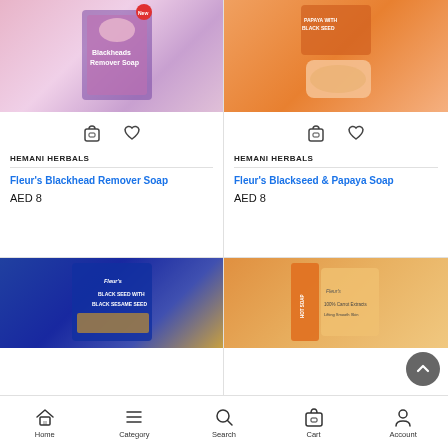[Figure (photo): Fleur's Blackhead Remover Soap product box with woman's face]
HEMANI HERBALS
Fleur's Blackhead Remover Soap
AED 8
[Figure (photo): Fleur's Blackseed & Papaya Soap product box with soap bar]
HEMANI HERBALS
Fleur's Blackseed & Papaya Soap
AED 8
[Figure (photo): Fleur's Black Seed with Black Sesame Seed soap product box (blue)]
[Figure (photo): Fleur's Carrot soap product box (orange)]
Home  Category  Search  Cart  Account